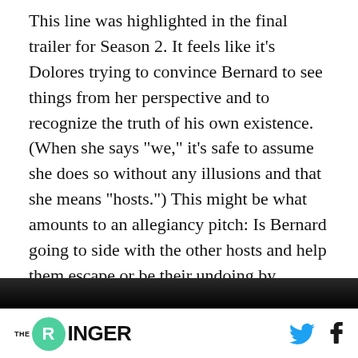This line was highlighted in the final trailer for Season 2. It feels like it’s Dolores trying to convince Bernard to see things from her perspective and to recognize the truth of his own existence. (When she says “we,” it’s safe to assume she does so without any illusions and that she means “hosts.”) This might be what amounts to an allegiancy pitch: Is Bernard going to side with the other hosts and help them escape or be their undoing by helping the humans stop their rebellion?
[Figure (photo): Dark image strip partially visible at bottom of content area]
THE RINGER [logo] [Twitter icon] [Facebook icon]